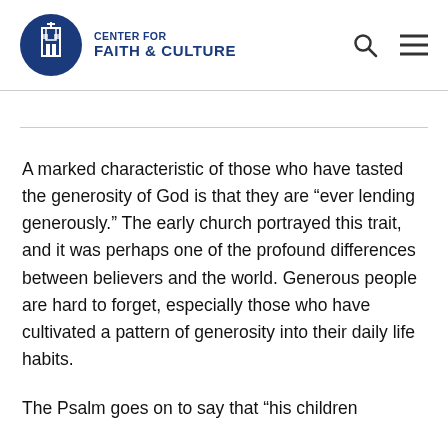CENTER FOR FAITH & CULTURE
A marked characteristic of those who have tasted the generosity of God is that they are “ever lending generously.” The early church portrayed this trait, and it was perhaps one of the profound differences between believers and the world. Generous people are hard to forget, especially those who have cultivated a pattern of generosity into their daily life habits.
The Psalm goes on to say that “his children